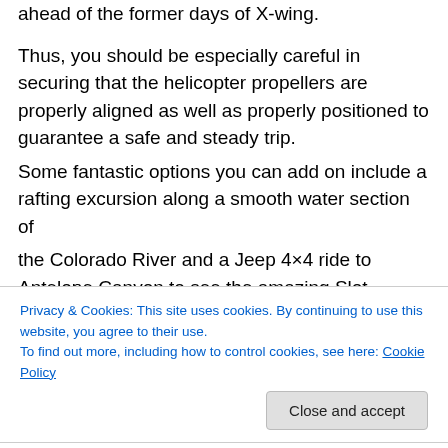ahead of the former days of X-wing.
Thus, you should be especially careful in securing that the helicopter propellers are properly aligned as well as properly positioned to guarantee a safe and steady trip.
Some fantastic options you can add on include a rafting excursion along a smooth water section of the Colorado River and a Jeep 4×4 ride to Antelope Canyon to see the amazing Slot Canyons.
Privacy & Cookies: This site uses cookies. By continuing to use this website, you agree to their use.
To find out more, including how to control cookies, see here: Cookie Policy
Thank you for the auspicious writeup. It in fact